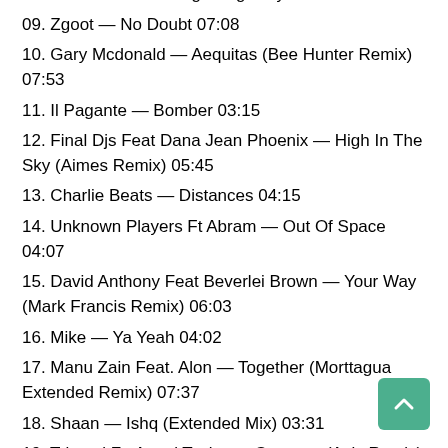08. Yasuna. — Late Night Highway 06:31
09. Zgoot — No Doubt 07:08
10. Gary Mcdonald — Aequitas (Bee Hunter Remix) 07:53
11. Il Pagante — Bomber 03:15
12. Final Djs Feat Dana Jean Phoenix — High In The Sky (Aimes Remix) 05:45
13. Charlie Beats — Distances 04:15
14. Unknown Players Ft Abram — Out Of Space 04:07
15. David Anthony Feat Beverlei Brown — Your Way (Mark Francis Remix) 06:03
16. Mike — Ya Yeah 04:02
17. Manu Zain Feat. Alon — Together (Morttagua Extended Remix) 07:37
18. Shaan — Ishq (Extended Mix) 03:31
19. Tritonal Ft. Angel Taylor — Getaway (Axis Remix) 03:56
20. Tom Swoon — Never Giving Up (Extended Mix) 04:48
21. Tresor Thee — Bad Fanm 02:22
22. Patrik Remann Feat. Max C — I Can\'t Get Over (Wideboys In Ya Face Remix) 05:41
23. Nitai Charan — Mile Away 02:59
24. Sutura — Intro 04:01